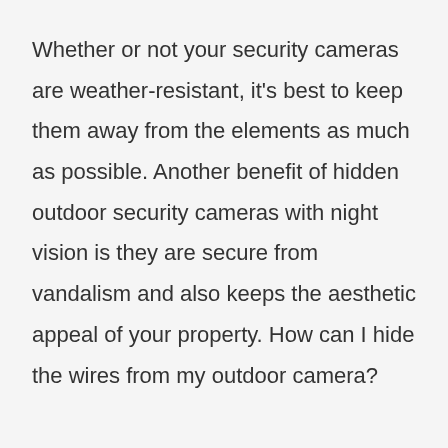Whether or not your security cameras are weather-resistant, it's best to keep them away from the elements as much as possible. Another benefit of hidden outdoor security cameras with night vision is they are secure from vandalism and also keeps the aesthetic appeal of your property. How can I hide the wires from my outdoor camera?